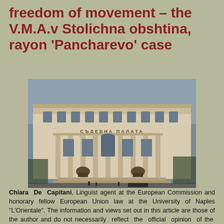freedom of movement – the V.M.A.v Stolichna obshtina, rayon 'Pancharevo' case
[Figure (photo): Photograph of a large neoclassical government building (courthouse) with columns, sculptures of lions at the entrance, and Cyrillic text on the facade reading 'СЪДЕБНА ПАЛАТА' (Palace of Justice). People and cars visible in front.]
Chiara De Capitani, Linguist agent at the European Commission and honorary fellow European Union law at the University of Naples "L'Orientale". The information and views set out in this article are those of the author and do not necessarily reflect the official opinion of the European